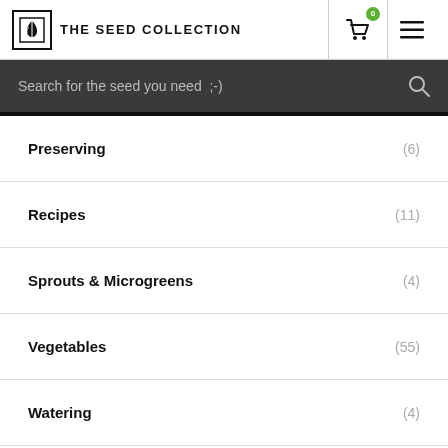THE SEED COLLECTION
Search for the seed you need ;-)
Preserving (6)
Recipes (11)
Sprouts & Microgreens (4)
Vegetables (55)
Watering (4)